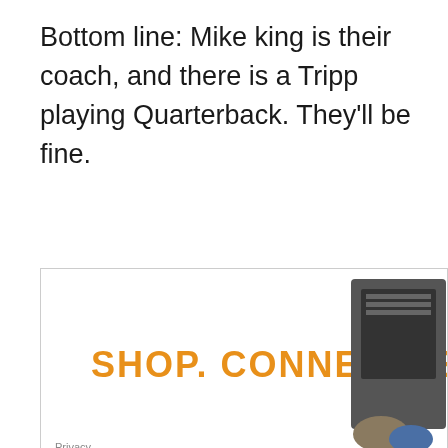Bottom line: Mike king is their coach, and there is a Tripp playing Quarterback. They'll be fine.
[Figure (other): Advertisement banner with text 'SHOP. CONNECT. ENJOY.' in orange bold letters and an image of electronics/shoes on the right side. Privacy label in bottom left.]
Amity
Key losses– West Streeter LB/RB, Harvey Hoff RB/LB,Brian Hatch RB/LB, Jonathon Mather RB/LB,Seth Valencia RB/NG,Tyler